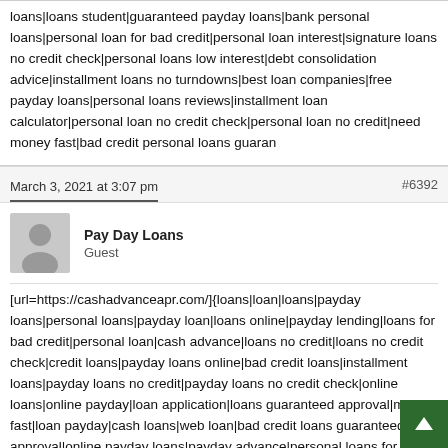loans|loans student|guaranteed payday loans|bank personal loans|personal loan for bad credit|personal loan interest|signature loans no credit check|personal loans low interest|debt consolidation advice|installment loans no turndowns|best loan companies|free payday loans|personal loans reviews|installment loan calculator|personal loan no credit check|personal loan no credit|need money fast|bad credit personal loans guaran
March 3, 2021 at 3:07 pm
#6392
[Figure (illustration): Generic grey avatar/profile placeholder image showing silhouette of person]
Pay Day Loans
Guest
[url=https://cashadvanceapr.com/]{loans|loan|loans|payday loans|personal loans|payday loan|loans online|payday lending|loans for bad credit|personal loan|cash advance|loans no credit|loans no credit check|credit loans|payday loans online|bad credit loans|installment loans|payday loans no credit|payday loans no credit check|online loans|online payday|loan application|loans guaranteed approval|money fast|loan payday|cash loans|web loan|bad credit loans guaranteed approval|online payday loans|payday advance|personal loans for bad credit|loan online|loans instant approval|credit loans guaranteed